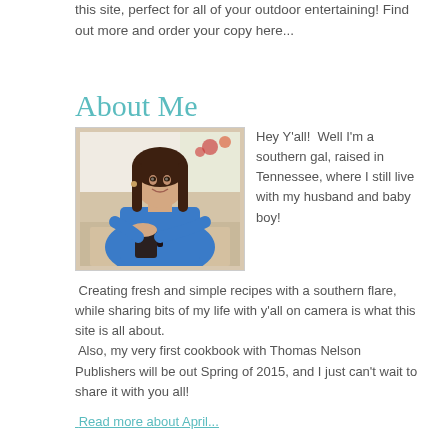this site, perfect for all of your outdoor entertaining! Find out more and order your copy here...
About Me
[Figure (photo): Photo of a smiling woman in a blue top, holding a dark mug, seated at a table in a bright kitchen setting.]
Hey Y'all!  Well I'm a southern gal, raised in Tennessee, where I still live with my husband and baby boy!  Creating fresh and simple recipes with a southern flare, while sharing bits of my life with y'all on camera is what this site is all about.  Also, my very first cookbook with Thomas Nelson Publishers will be out Spring of 2015, and I just can't wait to share it with you all!
Read more about April...